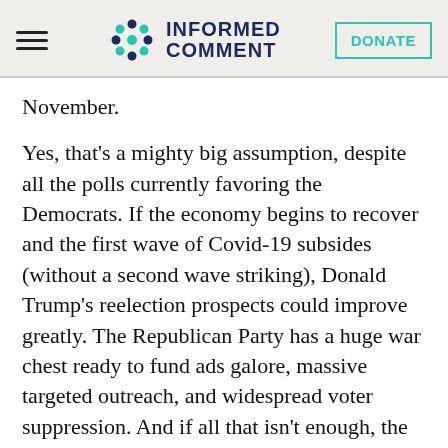INFORMED COMMENT | DONATE
November.
Yes, that’s a mighty big assumption, despite all the polls currently favoring the Democrats. If the economy begins to recover and the first wave of Covid-19 subsides (without a second wave striking), Donald Trump’s reelection prospects could improve greatly. The Republican Party has a huge war chest ready to fund ads galore, massive targeted outreach, and widespread voter suppression. And if all that isn’t enough, the president could borrow a tactic